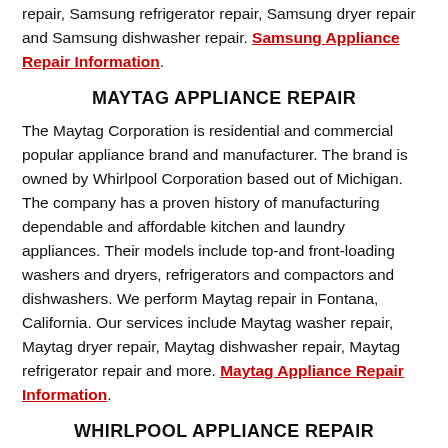repair, Samsung refrigerator repair, Samsung dryer repair and Samsung dishwasher repair. Samsung Appliance Repair Information.
MAYTAG APPLIANCE REPAIR
The Maytag Corporation is residential and commercial popular appliance brand and manufacturer. The brand is owned by Whirlpool Corporation based out of Michigan. The company has a proven history of manufacturing dependable and affordable kitchen and laundry appliances. Their models include top-and front-loading washers and dryers, refrigerators and compactors and dishwashers. We perform Maytag repair in Fontana, California. Our services include Maytag washer repair, Maytag dryer repair, Maytag dishwasher repair, Maytag refrigerator repair and more. Maytag Appliance Repair Information.
WHIRLPOOL APPLIANCE REPAIR
The Whirlpool Corporation is a manufacturer of home...